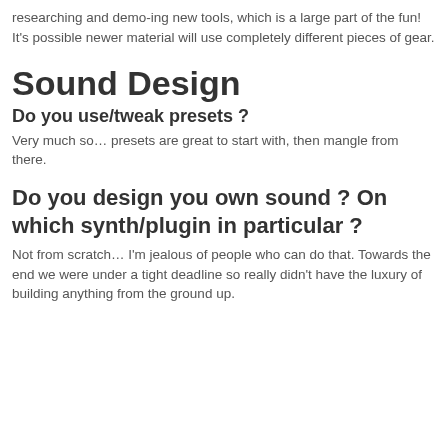researching and demo-ing new tools, which is a large part of the fun! It's possible newer material will use completely different pieces of gear.
Sound Design
Do you use/tweak presets ?
Very much so… presets are great to start with, then mangle from there.
Do you design you own sound ? On which synth/plugin in particular ?
Not from scratch… I'm jealous of people who can do that. Towards the end we were under a tight deadline so really didn't have the luxury of building anything from the ground up.